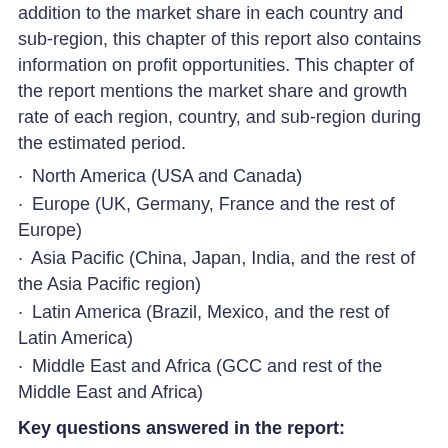addition to the market share in each country and sub-region, this chapter of this report also contains information on profit opportunities. This chapter of the report mentions the market share and growth rate of each region, country, and sub-region during the estimated period.
North America (USA and Canada)
Europe (UK, Germany, France and the rest of Europe)
Asia Pacific (China, Japan, India, and the rest of the Asia Pacific region)
Latin America (Brazil, Mexico, and the rest of Latin America)
Middle East and Africa (GCC and rest of the Middle East and Africa)
Key questions answered in the report:
1. Which are the five top players in the Organic Antimicrobial Coating market?
2. How will the Organic Antimicrobial Coating market change in the next five years?